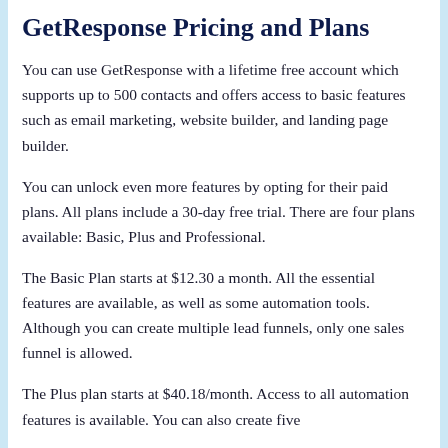GetResponse Pricing and Plans
You can use GetResponse with a lifetime free account which supports up to 500 contacts and offers access to basic features such as email marketing, website builder, and landing page builder.
You can unlock even more features by opting for their paid plans. All plans include a 30-day free trial. There are four plans available: Basic, Plus and Professional.
The Basic Plan starts at $12.30 a month. All the essential features are available, as well as some automation tools. Although you can create multiple lead funnels, only one sales funnel is allowed.
The Plus plan starts at $40.18/month. Access to all automation features is available. You can also create five